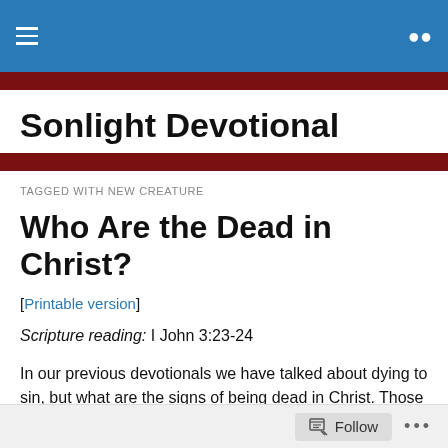Sonlight Devotional — navigation header with hamburger menu and search icon
Sonlight Devotional
TAGGED WITH NEW CREATURE
Who Are the Dead in Christ?
[Printable version]
Scripture reading: I John 3:23-24
In our previous devotionals we have talked about dying to sin, but what are the signs of being dead in Christ. Those
Follow